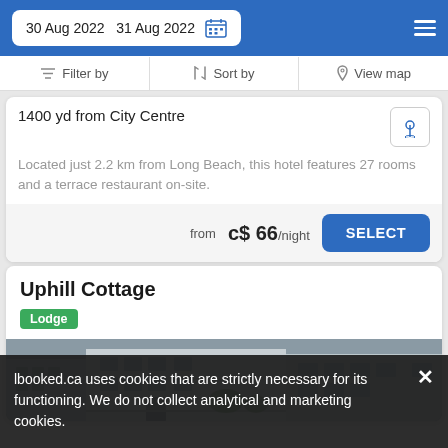30 Aug 2022  31 Aug 2022
Filter by  |  Sort by  |  View map
1400 yd from City Centre
Located just 2.2 km from Long Beach, this hotel features 27 rooms and a terrace restaurant on-site.
from c$ 66/night
Uphill Cottage
Lodge
[Figure (photo): Photo of Uphill Cottage building exterior with stairs and white siding]
lbooked.ca uses cookies that are strictly necessary for its functioning. We do not collect analytical and marketing cookies.